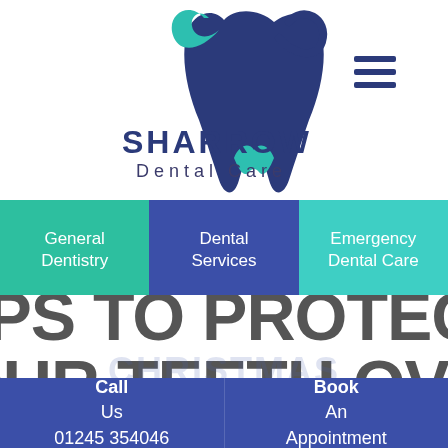[Figure (logo): Sharrow Dental Care logo: tooth icon with teal and dark blue coloring, text 'SHARROW Dental Care']
[Figure (other): Hamburger menu icon (three horizontal dark blue lines)]
General Dentistry
Dental Services
Emergency Dental Care
TIPS TO PROTECT YOUR TEETH OVER
Call Us 01245 354046 | Book An Appointment